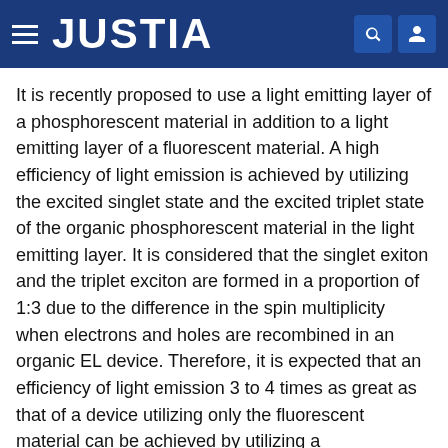JUSTIA
It is recently proposed to use a light emitting layer of a phosphorescent material in addition to a light emitting layer of a fluorescent material. A high efficiency of light emission is achieved by utilizing the excited singlet state and the excited triplet state of the organic phosphorescent material in the light emitting layer. It is considered that the singlet exiton and the triplet exciton are formed in a proportion of 1:3 due to the difference in the spin multiplicity when electrons and holes are recombined in an organic EL device. Therefore, it is expected that an efficiency of light emission 3 to 4 times as great as that of a device utilizing only the fluorescent material can be achieved by utilizing a phosphorescent material.
To prevent the excited triplet state or the triplet exciton from quenching, the organic EL devices described above